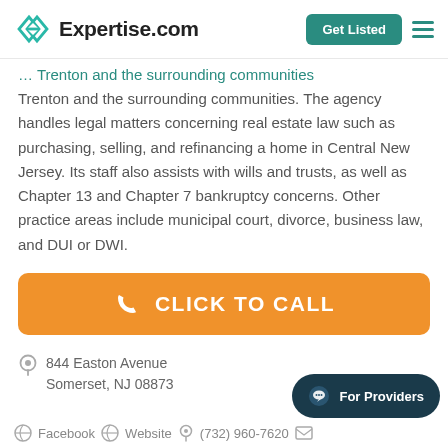Expertise.com
Trenton and the surrounding communities. The agency handles legal matters concerning real estate law such as purchasing, selling, and refinancing a home in Central New Jersey. Its staff also assists with wills and trusts, as well as Chapter 13 and Chapter 7 bankruptcy concerns. Other practice areas include municipal court, divorce, business law, and DUI or DWI.
CLICK TO CALL
844 Easton Avenue
Somerset, NJ 08873
Facebook  Website  (732) 960-7620